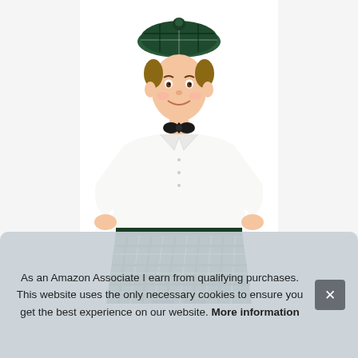[Figure (photo): A young boy wearing a Scottish costume: a green tartan tam o'shanter hat, white dress shirt with a black bow tie, and a green tartan kilt. He is standing with his hands on his hips, smiling, against a white background.]
As an Amazon Associate I earn from qualifying purchases. This website uses the only necessary cookies to ensure you get the best experience on our website. More information